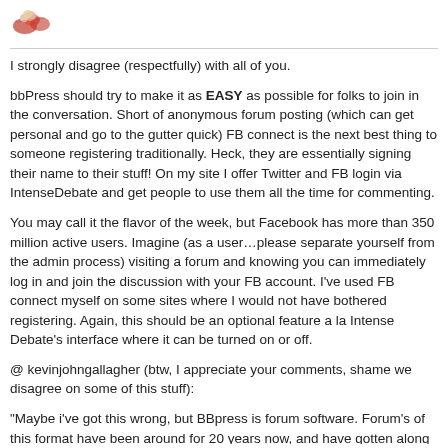[Figure (illustration): Small avatar/logo image of a cartoon character in top-left corner]
I strongly disagree (respectfully) with all of you.
bbPress should try to make it as EASY as possible for folks to join in the conversation. Short of anonymous forum posting (which can get personal and go to the gutter quick) FB connect is the next best thing to someone registering traditionally. Heck, they are essentially signing their name to their stuff! On my site I offer Twitter and FB login via IntenseDebate and get people to use them all the time for commenting.
You may call it the flavor of the week, but Facebook has more than 350 million active users. Imagine (as a user…please separate yourself from the admin process) visiting a forum and knowing you can immediately log in and join the discussion with your FB account. I’ve used FB connect myself on some sites where I would not have bothered registering. Again, this should be an optional feature a la Intense Debate’s interface where it can be turned on or off.
@ kevinjohngallagher (btw, I appreciate your comments, shame we disagree on some of this stuff):
“Maybe i’ve got this wrong, but BBpress is forum software. Forum’s of this format have been around for 20 years now, and have gotten along with without Facebook Connect. If this has changed, can someone pelase let us know?”